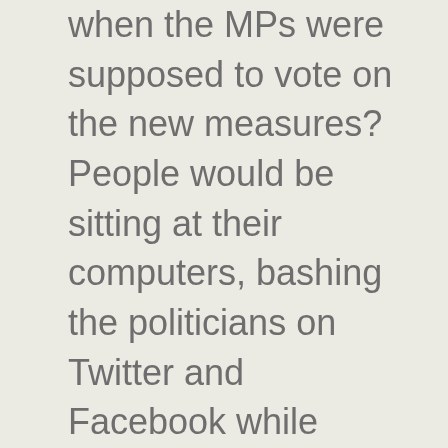when the MPs were supposed to vote on the new measures? People would be sitting at their computers, bashing the politicians on Twitter and Facebook while watching the Parliament's stream. At the same time we started seeing a big increase in international traffic, since more Greeks living abroad were tuning in; this stream was probably the only way they could watch what was happening at the Parliament.

That only meant one thing. Hello third-streamer! 10'